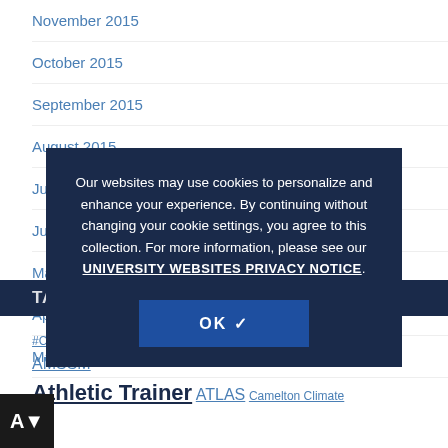November 2015
October 2015
September 2015
August 2015
July 2015
June 2015
May 2015
April 2015
March 2015
TAG CLOUD
#CoolFirstTransportSecond ACSM AED American College... AMSSM Athletic Trainer ATLAS Camelton Climate
Our websites may use cookies to personalize and enhance your experience. By continuing without changing your cookie settings, you agree to this collection. For more information, please see our UNIVERSITY WEBSITES PRIVACY NOTICE.
OK ✔